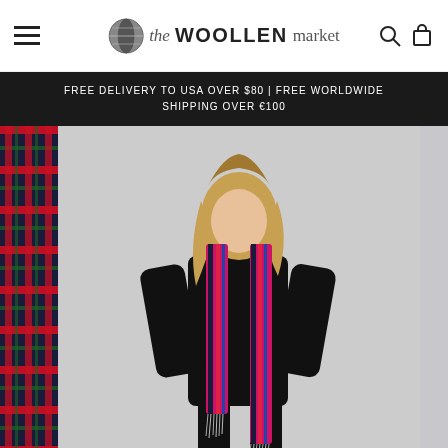theWOOLLENmarket navigation bar with hamburger menu, logo, search and cart icons
FREE DELIVERY TO USA OVER $80 | FREE WORLDWIDE SHIPPING OVER €100
[Figure (photo): Woman wearing a red, pink and navy tartan plaid scarf with fringe over a black outfit, posed against a light grey background. Side thumbnail shows close-up of the tartan fabric.]